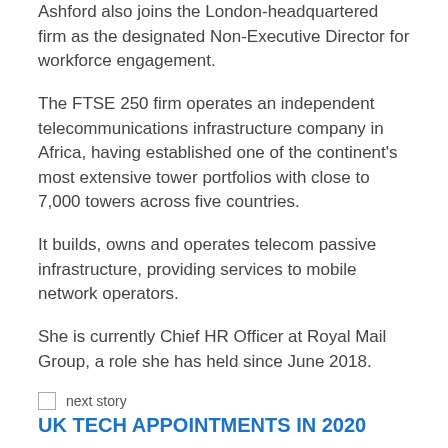Ashford also joins the London-headquartered firm as the designated Non-Executive Director for workforce engagement.
The FTSE 250 firm operates an independent telecommunications infrastructure company in Africa, having established one of the continent's most extensive tower portfolios with close to 7,000 towers across five countries.
It builds, owns and operates telecom passive infrastructure, providing services to mobile network operators.
She is currently Chief HR Officer at Royal Mail Group, a role she has held since June 2018.
[Figure (illustration): next story icon image]
UK TECH APPOINTMENTS IN 2020
Ashford joined Royal Mail in June 2015 as the Group